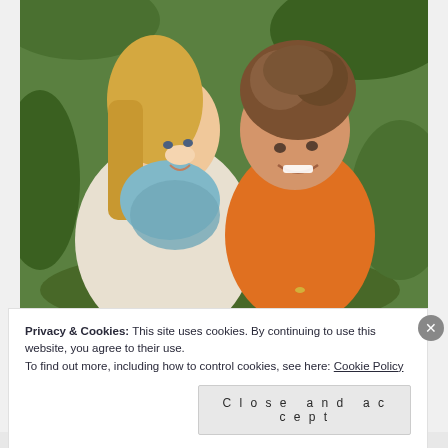[Figure (photo): A woman with blonde hair wearing a white sweater and blue/teal patterned scarf hugs a young boy wearing an orange polo shirt. Both are smiling. Green leafy background suggesting an outdoor setting.]
Privacy & Cookies: This site uses cookies. By continuing to use this website, you agree to their use.
To find out more, including how to control cookies, see here: Cookie Policy
Close and accept